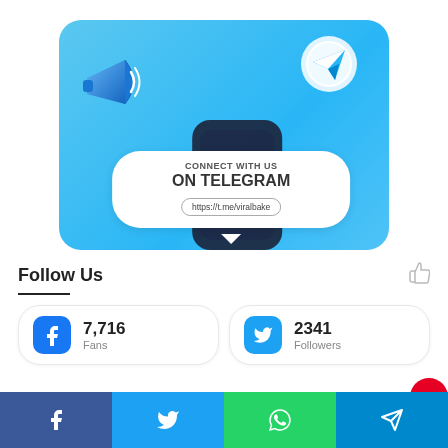[Figure (illustration): Telegram promotional banner with light blue background, megaphone on the left, dark phone shape in center, Telegram logo circle top right, and a white speech bubble showing CONNECT WITH US ON TELEGRAM and https://t.me/viralbake]
Follow Us
[Figure (infographic): Two social media follower count cards: Facebook 7,716 Fans and Twitter 2341 Followers]
[Figure (infographic): Bottom share bar with four buttons: Facebook (blue), Twitter (light blue), WhatsApp (green), Telegram (blue)]